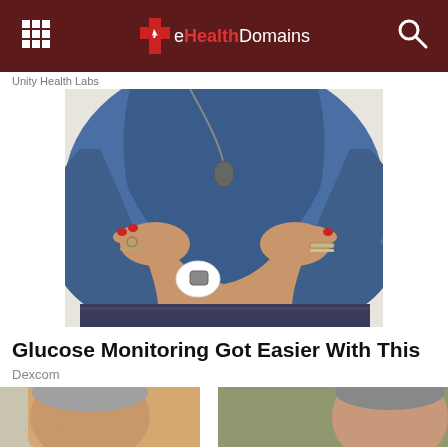eHealthDomains
Unity Health Labs
[Figure (photo): Woman in blue top lifting shirt to reveal a continuous glucose monitor (CGM) device attached to her abdomen. She wears jewelry including rings, bracelets, and a necklace.]
Glucose Monitoring Got Easier With This
Dexcom
[Figure (photo): Partial view of an elderly person's face, cropped at bottom of page.]